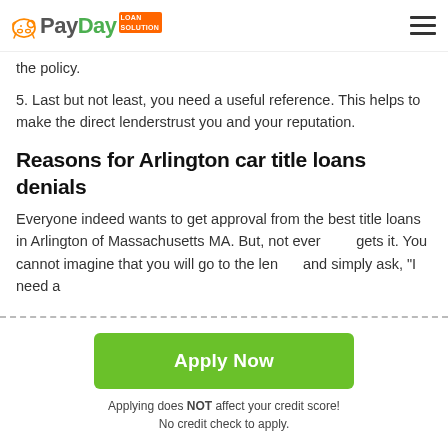PayDay Loan Solution
the policy.
5. Last but not least, you need a useful reference. This helps to make the direct lenderstrust you and your reputation.
Reasons for Arlington car title loans denials
Everyone indeed wants to get approval from the best title loans in Arlington of Massachusetts MA. But, not everyone gets it. You cannot imagine that you will go to the lender and simply ask, "I need a
Apply Now
Applying does NOT affect your credit score!
No credit check to apply.